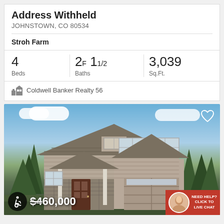Address Withheld
JOHNSTOWN, CO 80534
Stroh Farm
| Beds | Baths | Sq.Ft. |
| --- | --- | --- |
| 4 | 2F 1 1/2 | 3,039 |
Coldwell Banker Realty 56
[Figure (photo): Two-story craftsman style house with gray siding, stone accents, covered front porch, two-car garage, surrounded by evergreen trees, blue sky with clouds background]
$460,000